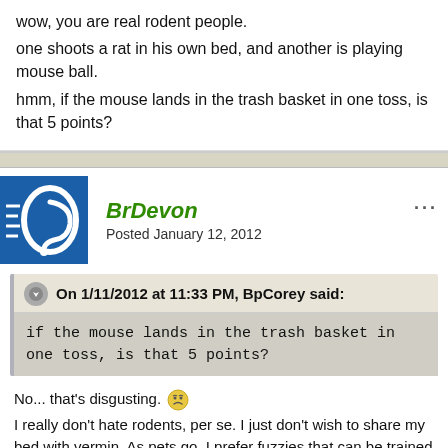wow, you are real rodent people.
one shoots a rat in his own bed, and another is playing mouse ball.
hmm, if the mouse lands in the trash basket in one toss, is that 5 points?
BrDevon — Posted January 12, 2012
On 1/11/2012 at 11:33 PM, BpCorey said: if the mouse lands in the trash basket in one toss, is that 5 points?
No... that's disgusting. I really don't hate rodents, per se. I just don't wish to share my bed with vermin. As pets go, I prefer fuzzies that can be trained to use a litter box or doggie room as opposed to urinating wherever they pass. Also meeces and rats look funny with a